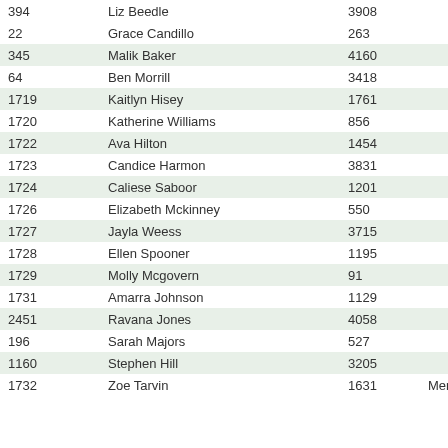| 394 | Liz Beedle | 3908 |  |
| 22 | Grace Candillo | 263 |  |
| 345 | Malik Baker | 4160 |  |
| 64 | Ben Morrill | 3418 |  |
| 1719 | Kaitlyn Hisey | 1761 |  |
| 1720 | Katherine Williams | 856 |  |
| 1722 | Ava Hilton | 1454 |  |
| 1723 | Candice Harmon | 3831 |  |
| 1724 | Caliese Saboor | 1201 |  |
| 1726 | Elizabeth Mckinney | 550 |  |
| 1727 | Jayla Weess | 3715 |  |
| 1728 | Ellen Spooner | 1195 |  |
| 1729 | Molly Mcgovern | 91 |  |
| 1731 | Amarra Johnson | 1129 |  |
| 2451 | Ravana Jones | 4058 |  |
| 196 | Sarah Majors | 527 |  |
| 1160 | Stephen Hill | 3205 |  |
| 1732 | Zoe Tarvin | 1631 | Merria |